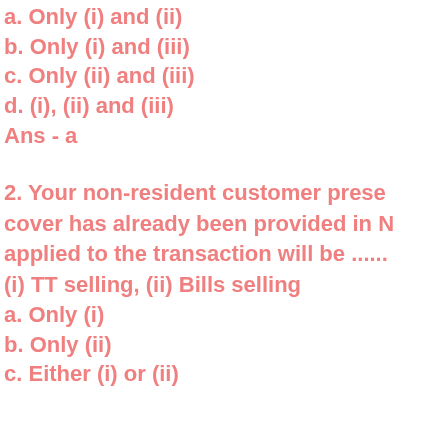a. Only (i) and (ii)
b. Only (i) and (iii)
c. Only (ii) and (iii)
d. (i), (ii) and (iii)
Ans - a
2. Your non-resident customer prese cover has already been provided in N applied to the transaction will be …… (i) TT selling, (ii) Bills selling
a. Only (i)
b. Only (ii)
c. Either (i) or (ii)